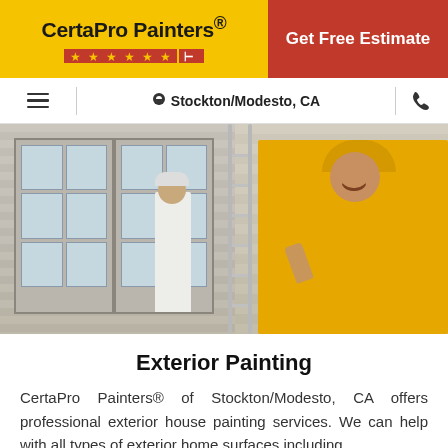[Figure (logo): CertaPro Painters logo on yellow background with stars and red stripe icon]
Get Free Estimate
☰ | ⬤ Stockton/Modesto, CA | ☎
[Figure (photo): Two CertaPro Painters workers outside a house. Worker in white on left near French doors; worker in yellow shirt and cap giving thumbs up next to a ladder on the right.]
Exterior Painting
CertaPro Painters® of Stockton/Modesto, CA offers professional exterior house painting services. We can help with all types of exterior home surfaces including